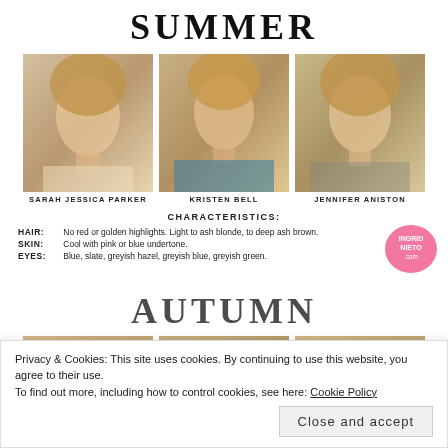SUMMER
[Figure (photo): Photo of Sarah Jessica Parker]
[Figure (photo): Photo of Kristen Bell]
[Figure (photo): Photo of Jennifer Aniston]
SARAH JESSICA PARKER
KRISTEN BELL
JENNIFER ANISTON
CHARACTERISTICS:
HAIR: No red or golden highlights. Light to ash blonde, to deep ash brown.
SKIN: Cool with pink or blue undertone.
EYES: Blue, slate, greyish hazel, greyish blue, greyish green.
[Figure (logo): ingridnieto.com pink watermark logo]
AUTUMN
[Figure (photo): Bottom row of celebrity photos partially visible]
Privacy & Cookies: This site uses cookies. By continuing to use this website, you agree to their use.
To find out more, including how to control cookies, see here: Cookie Policy
Close and accept